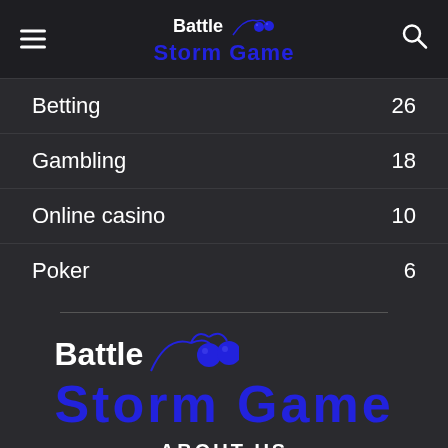Battle Storm Game
Betting 26
Gambling 18
Online casino 10
Poker 6
[Figure (logo): Battle Storm Game logo with cherry icon, large version in footer area]
ABOUT US